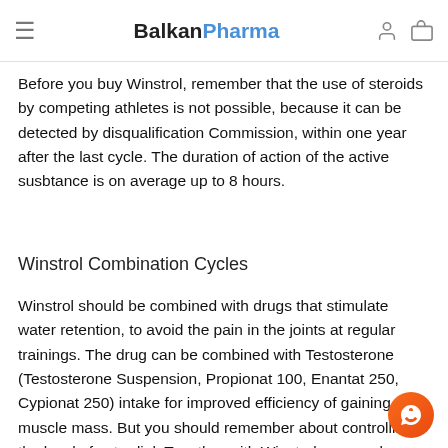BalkanPharma
stimulating estrogenic activity, which leads to the disease accompanied by edema and gynecomastia.
Before you buy Winstrol, remember that the use of steroids by competing athletes is not possible, because it can be detected by disqualification Commission, within one year after the last cycle. The duration of action of the active susbtance is on average up to 8 hours.
Winstrol Combination Cycles
Winstrol should be combined with drugs that stimulate water retention, to avoid the pain in the joints at regular trainings. The drug can be combined with Testosterone (Testosterone Suspension, Propionat 100, Enantat 250, Cypionat 250) intake for improved efficiency of gaining muscle mass. But you should remember about controlling the level of estradiol. Together with Winstrol you can buy Oxymetholone and Methandrostenolone (buy Dianabol),